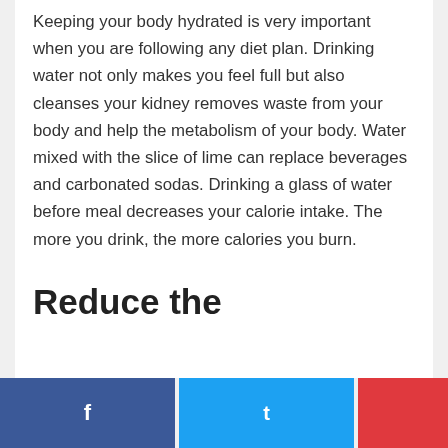Keeping your body hydrated is very important when you are following any diet plan. Drinking water not only makes you feel full but also cleanses your kidney removes waste from your body and help the metabolism of your body. Water mixed with the slice of lime can replace beverages and carbonated sodas. Drinking a glass of water before meal decreases your calorie intake. The more you drink, the more calories you burn.
Reduce the